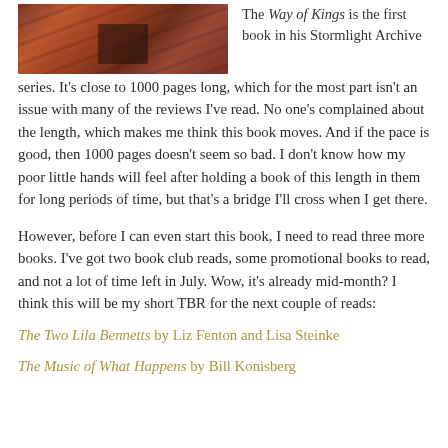[Figure (photo): A photo of a reddish-orange rock landscape, likely a canyon or cliff face.]
The Way of Kings is the first book in his Stormlight Archive series. It's close to 1000 pages long, which for the most part isn't an issue with many of the reviews I've read. No one's complained about the length, which makes me think this book moves. And if the pace is good, then 1000 pages doesn't seem so bad. I don't know how my poor little hands will feel after holding a book of this length in them for long periods of time, but that's a bridge I'll cross when I get there.
However, before I can even start this book, I need to read three more books. I've got two book club reads, some promotional books to read, and not a lot of time left in July. Wow, it's already mid-month? I think this will be my short TBR for the next couple of reads:
The Two Lila Bennetts by Liz Fenton and Lisa Steinke
The Music of What Happens by Bill Konisberg